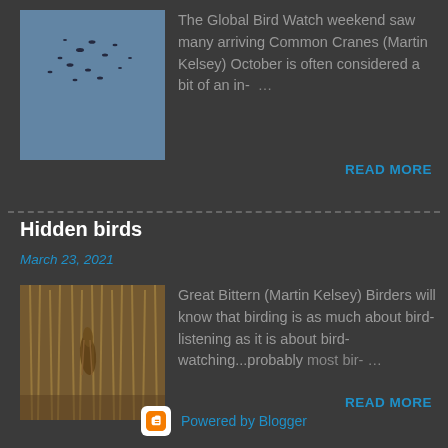[Figure (photo): Birds in flight against a blue sky]
The Global Bird Watch weekend saw many arriving Common Cranes (Martin Kelsey) October is often considered a bit of an in- …
READ MORE
Hidden birds
March 23, 2021
[Figure (photo): Great Bittern hidden in reeds]
Great Bittern (Martin Kelsey) Birders will know that birding is as much about bird-listening as it is about bird-watching...probably most bir- …
READ MORE
Powered by Blogger